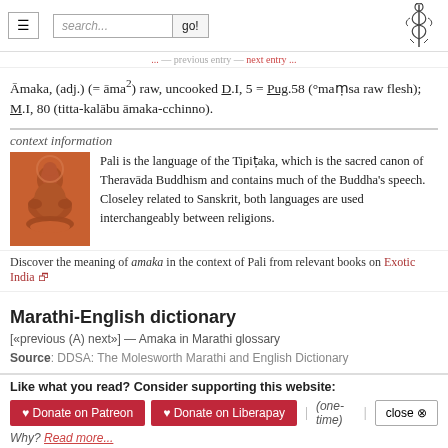Navigation bar with hamburger menu, search box, and caduceus logo
Āmaka, (adj.) (= āma²) raw, uncooked D.I, 5 = Pug.58 (°maṃsa raw flesh); M.I, 80 (titta-kalābu āmaka-cchinno).
context information
[Figure (photo): Terracotta sculpture of a seated Buddha figure in orange-red hue]
Pali is the language of the Tipiṭaka, which is the sacred canon of Theravāda Buddhism and contains much of the Buddha's speech. Closeley related to Sanskrit, both languages are used interchangeably between religions.
Discover the meaning of amaka in the context of Pali from relevant books on Exotic India
Marathi-English dictionary
[«previous (A) next»] — Amaka in Marathi glossary
Source: DDSA: The Molesworth Marathi and English Dictionary
Like what you read? Consider supporting this website:
♥ Donate on Patreon   ♥ Donate on Liberapay   | (one-time) |   close ⊗
Why? Read more...